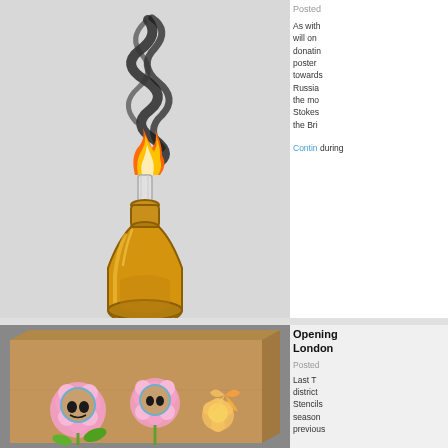[Figure (illustration): Illustration of a Molotov cocktail — a brown glass bottle with a cloth wick on fire, emitting black smoke rising upward, against a light grey background.]
Posted
As with will one donating poster towards Russian the mo Stokes the Bri
Contin during
[Figure (photo): Photo of a cardboard box painted with colorful flower designs where the flower centers are replaced with screaming or hiding human faces, with a butterfly on the right side. Photographed against a concrete wall.]
Opening London
Posted
Last T district Stencils season previous